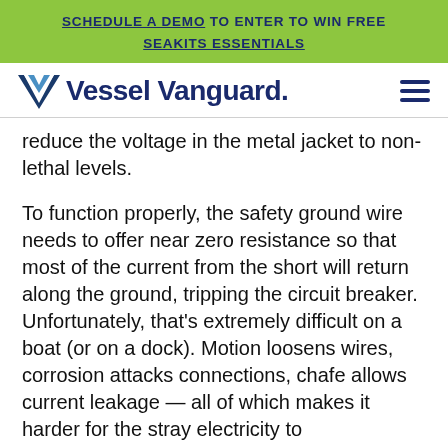SCHEDULE A DEMO TO ENTER TO WIN FREE SEAKITS ESSENTIALS
[Figure (logo): Vessel Vanguard logo with chevron V icon and hamburger menu icon]
reduce the voltage in the metal jacket to non-lethal levels.
To function properly, the safety ground wire needs to offer near zero resistance so that most of the current from the short will return along the ground, tripping the circuit breaker. Unfortunately, that's extremely difficult on a boat (or on a dock). Motion loosens wires, corrosion attacks connections, chafe allows current leakage — all of which makes it harder for the stray electricity to